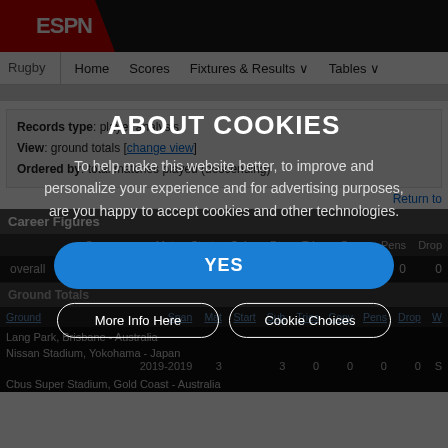ESPN Rugby - Career Figures
Records type: player analysis
View: ground totals [change view]
Ordered by: total matches played (descending)
Return to
Career Figures
| Span | Mat | Start | Sub | Pts | Tries | Conv | Pens | Drop |
| --- | --- | --- | --- | --- | --- | --- | --- | --- |
| overall | 2016-2021 |  |  | 5 | 0 | 0 | 0 | 0 |
Ground Totals
| Ground | Span | Mat | Start | Sub | Tries | Conv | Pens | Drop | W |
| --- | --- | --- | --- | --- | --- | --- | --- | --- | --- |
| Lang Park, Brisbane - Australia |  |  |  |  |  |  |  |  |  |
| Nissan Stadium, Yokohama - Japan | 2019-2019 | 3 |  | 3 | 0 | 0 | 0 | 0 | S |
| Cbus Super Stadium, Gold Coast - Australia |  |  |  |  |  |  |  |  |  |
ABOUT COOKIES
To help make this website better, to improve and personalize your experience and for advertising purposes, are you happy to accept cookies and other technologies.
YES
More Info Here
Cookie Choices